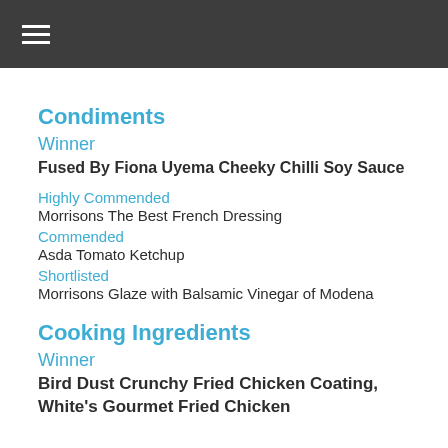≡ (hamburger menu)
Condiments
Winner
Fused By Fiona Uyema Cheeky Chilli Soy Sauce
Highly Commended
Morrisons The Best French Dressing
Commended
Asda Tomato Ketchup
Shortlisted
Morrisons Glaze with Balsamic Vinegar of Modena
Cooking Ingredients
Winner
Bird Dust Crunchy Fried Chicken Coating, White's Gourmet Fried Chicken